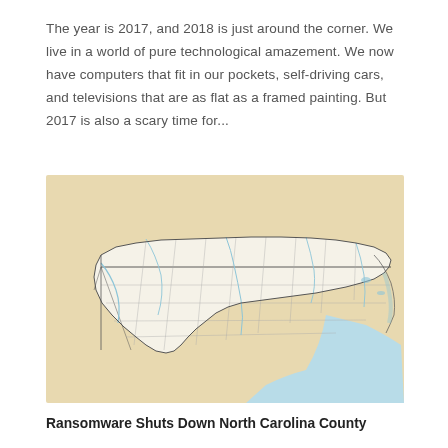The year is 2017, and 2018 is just around the corner. We live in a world of pure technological amazement. We now have computers that fit in our pockets, self-driving cars, and televisions that are as flat as a framed painting. But 2017 is also a scary time for...
[Figure (map): A map of North Carolina showing county boundaries in white/cream, surrounded by a tan/beige background representing neighboring states, with blue water areas along the coast and rivers/waterways shown in light blue.]
Ransomware Shuts Down North Carolina County